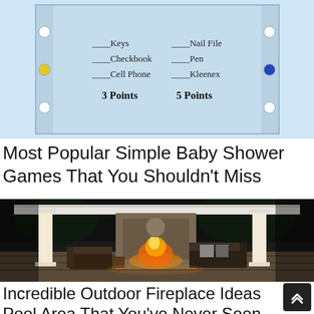[Figure (illustration): Baby shower checklist card with two columns: Keys, Checkbook, Cell Phone (3 Points) and Nail File, Pen, Kleenex (5 Points), on a light blue background with decorative circles on the sides.]
Most Popular Simple Baby Shower Games That You Shouldn’t Miss
[Figure (photo): Nighttime photo of an elegant outdoor covered patio/gazebo with white columns, a lit stone fireplace, and dark patio furniture, surrounded by a stone wall and dark landscape.]
Incredible Outdoor Fireplace Ideas Pool Area That You’ve Never Seen …